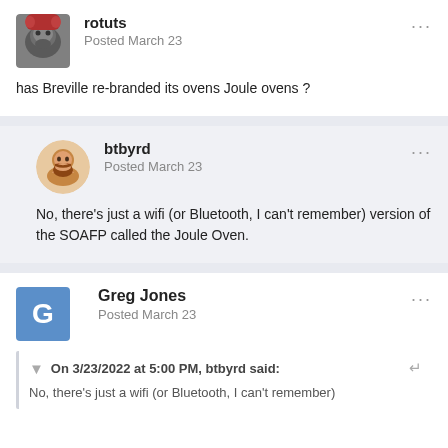rotuts
Posted March 23
has Breville re-branded its ovens Joule ovens ?
btbyrd
Posted March 23
No, there's just a wifi (or Bluetooth, I can't remember) version of the SOAFP called the Joule Oven.
Greg Jones
Posted March 23
On 3/23/2022 at 5:00 PM, btbyrd said:
No, there's just a wifi (or Bluetooth, I can't remember)